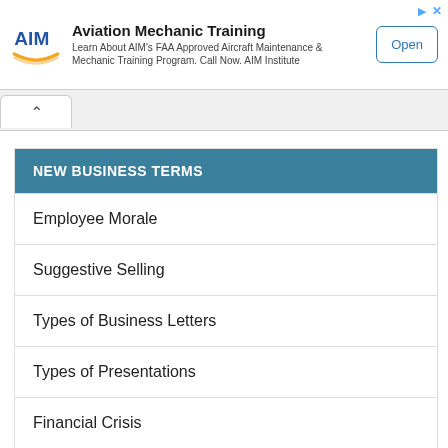[Figure (other): Advertisement banner for AIM Institute Aviation Mechanic Training with logo, description text, and Open button]
NEW BUSINESS TERMS
Employee Morale
Suggestive Selling
Types of Business Letters
Types of Presentations
Financial Crisis